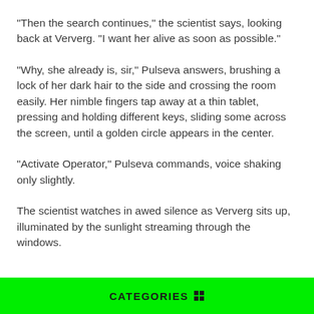"Then the search continues," the scientist says, looking back at Ververg. "I want her alive as soon as possible."
"Why, she already is, sir," Pulseva answers, brushing a lock of her dark hair to the side and crossing the room easily. Her nimble fingers tap away at a thin tablet, pressing and holding different keys, sliding some across the screen, until a golden circle appears in the center.
"Activate Operator," Pulseva commands, voice shaking only slightly.
The scientist watches in awed silence as Ververg sits up, illuminated by the sunlight streaming through the windows.
CATEGORIES